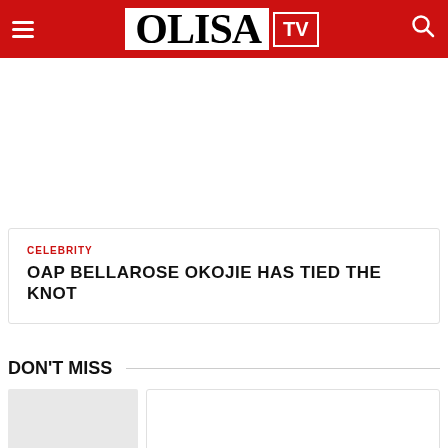OLISA TV
CELEBRITY
OAP BELLAROSE OKOJIE HAS TIED THE KNOT
DON'T MISS
POLITICS